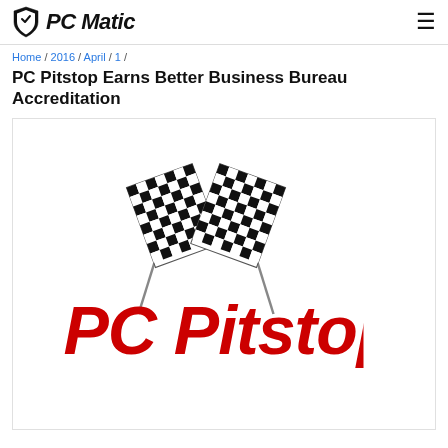PC Matic
Home / 2016 / April / 1 /
PC Pitstop Earns Better Business Bureau Accreditation
[Figure (logo): PC Pitstop logo with two crossed checkered racing flags above bold red italic text reading 'PC Pitstop']